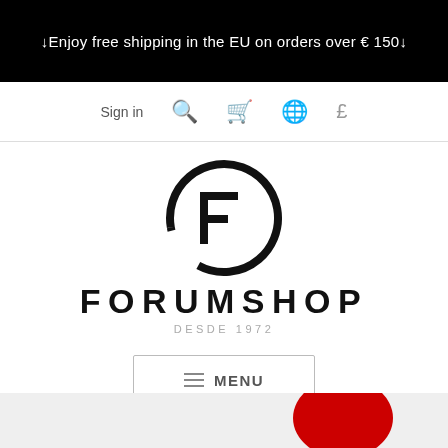↓Enjoy free shipping in the EU on orders over € 150↓
Sign in
[Figure (logo): Forumshop logo: circular emblem with stylized F letter, brand name FORUMSHOP in bold uppercase, subtitle DESDE 1972]
≡ MENU